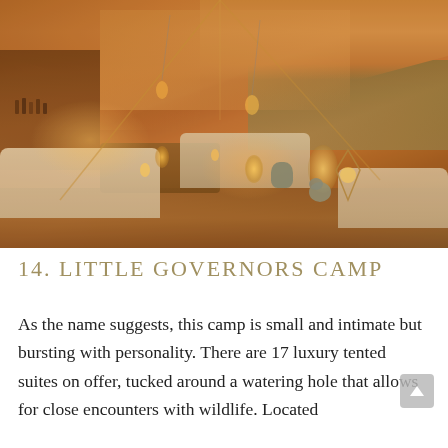[Figure (photo): Interior of a luxury safari tent lodge at dusk, showing a warm-lit lounge area with white sofas, wooden tables, Moroccan lanterns, a diamond-shaped wire lantern, an elephant figurine, and a bar area on the left. The open tent structure reveals a green savanna landscape outside.]
14. LITTLE GOVERNORS CAMP
As the name suggests, this camp is small and intimate but bursting with personality. There are 17 luxury tented suites on offer, tucked around a watering hole that allows for close encounters with wildlife. Located